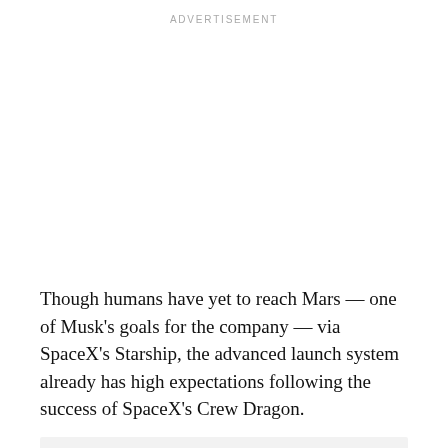ADVERTISEMENT
Though humans have yet to reach Mars — one of Musk’s goals for the company — via SpaceX’s Starship, the advanced launch system already has high expectations following the success of SpaceX’s Crew Dragon.
RALSO READ  Nigeria’s debt profile hits N39trn – DMO